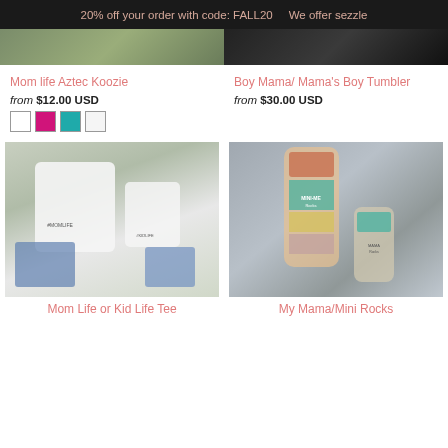20% off your order with code: FALL20    We offer sezzle
[Figure (photo): Two product photos side by side (left: outdoor/nature, right: dark background)]
Mom life Aztec Koozie
from $12.00 USD
[Figure (other): Color swatches: white, pink/magenta, teal, white]
Boy Mama/ Mama's Boy Tumbler
from $30.00 USD
[Figure (photo): Mom life and kid life graphic tees laid flat with jeans]
[Figure (photo): My Mama/Mini Rocks tumblers held in hand]
Mom Life or Kid Life Tee
My Mama/Mini Rocks Tumbler